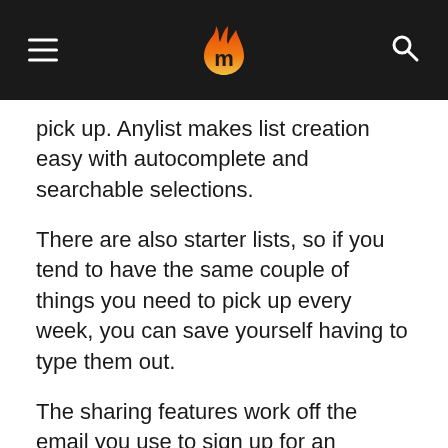[Navigation header with hamburger menu, Mealime logo, and search icon]
pick up. Anylist makes list creation easy with autocomplete and searchable selections.
There are also starter lists, so if you tend to have the same couple of things you need to pick up every week, you can save yourself having to type them out.
The sharing features work off the email you use to sign up for an account with Anylist, but you can search for names in your contacts to share the list with.